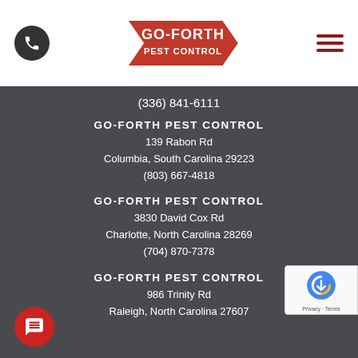[Figure (logo): Go-Forth Pest Control logo with red arrow shape and white text]
(336) 841-6111
GO-FORTH PEST CONTROL
139 Rabon Rd
Columbia, South Carolina 29223
(803) 667-4818
GO-FORTH PEST CONTROL
3830 David Cox Rd
Charlotte, North Carolina 28269
(704) 870-7378
GO-FORTH PEST CONTROL
986 Trinity Rd
Raleigh, North Carolina 27607